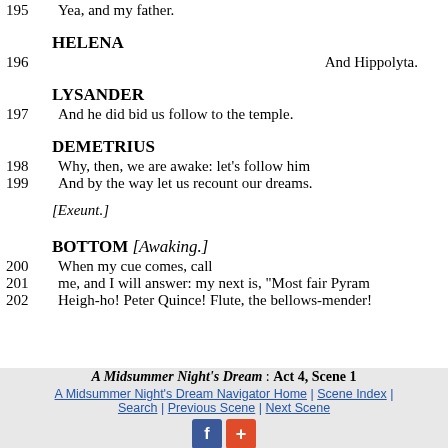195  Yea, and my father.
HELENA
196  And Hippolyta.
LYSANDER
197  And he did bid us follow to the temple.
DEMETRIUS
198  Why, then, we are awake: let's follow him
199  And by the way let us recount our dreams.
[Exeunt.]
BOTTOM  [Awaking.]
200  When my cue comes, call
201  me, and I will answer: my next is, "Most fair Pyram
202  Heigh-ho! Peter Quince! Flute, the bellows-mender!
A Midsummer Night's Dream : Act 4, Scene 1 | A Midsummer Night's Dream Navigator Home | Scene Index | Search | Previous Scene | Next Scene